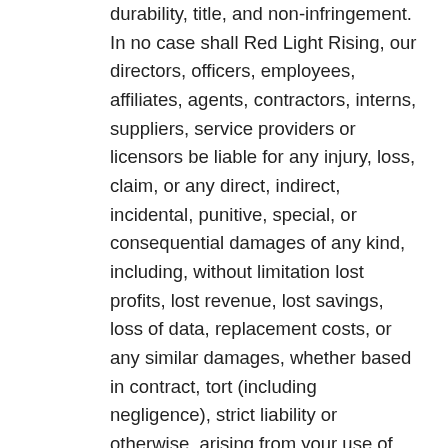durability, title, and non-infringement. In no case shall Red Light Rising, our directors, officers, employees, affiliates, agents, contractors, interns, suppliers, service providers or licensors be liable for any injury, loss, claim, or any direct, indirect, incidental, punitive, special, or consequential damages of any kind, including, without limitation lost profits, lost revenue, lost savings, loss of data, replacement costs, or any similar damages, whether based in contract, tort (including negligence), strict liability or otherwise, arising from your use of any of the service or any products procured using the service, or for any other claim related in any way to your use of the service or any product, including, but not limited to, any errors or omissions in any content, or any loss or damage of any kind incurred as a result of the use of the service or any content (or product) posted, transmitted, or otherwise made available via the service, even if advised of their possibility. Because some states or jurisdictions do not allow the exclusion or the limitation of liability for